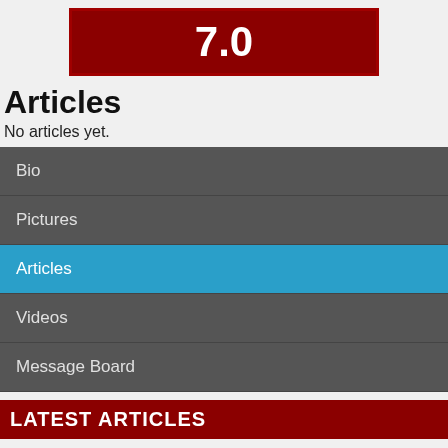[Figure (other): Score box showing 7.0 in white bold text on dark red background]
Articles
No articles yet.
Bio
Pictures
Articles
Videos
Message Board
LATEST ARTICLES
Suidooster Teasers - October 2022
Danni and Siya are on again, off again, on again, and an unexpected visitor puts Wade in a tizz.